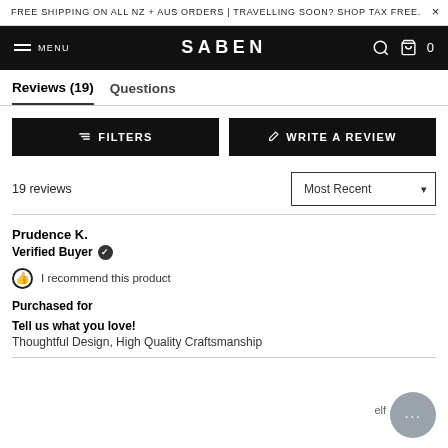FREE SHIPPING ON ALL NZ + AUS ORDERS | TRAVELLING SOON? SHOP TAX FREE.
MENU  SABEN  0
Reviews (19)   Questions
≡ FILTERS   ✏ WRITE A REVIEW
19 reviews
Most Recent
Prudence K.
Verified Buyer ✓
I recommend this product
Purchased for
Tell us what you love!
Thoughtful Design, High Quality Craftsmanship